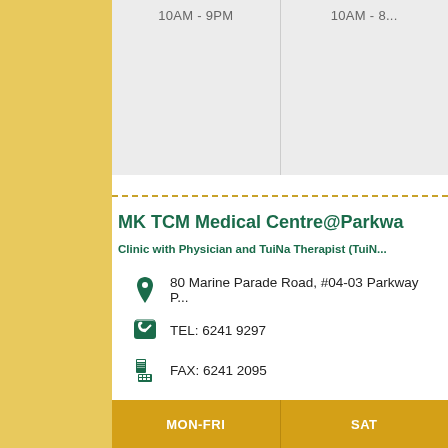| MON-FRI times | SAT times |
| --- | --- |
| 10AM - 9PM | 10AM - 8... |
MK TCM Medical Centre@Parkwa
Clinic with Physician and TuiNa Therapist (TuiN...
80 Marine Parade Road, #04-03 Parkway P...
TEL: 6241 9297
FAX: 6241 2095
| MON-FRI | SAT |
| --- | --- |